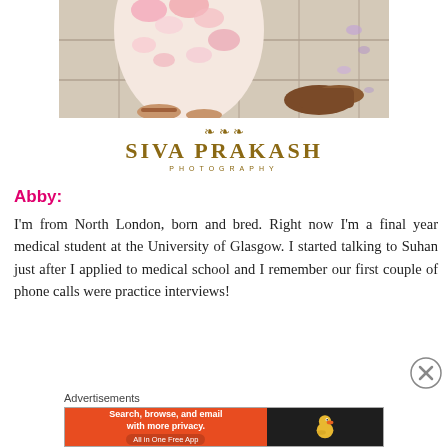[Figure (photo): Partial photo showing a woman in a floral dress and sandals on tiled floor, with a man's brown dress shoe visible]
[Figure (logo): Siva Prakash Photography logo with ornamental flourish above the name in gold/brown color]
Abby:
I'm from North London, born and bred. Right now I'm a final year medical student at the University of Glasgow. I started talking to Suhan just after I applied to medical school and I remember our first couple of phone calls were practice interviews!
[Figure (other): Close/dismiss button (circled X icon)]
Advertisements
[Figure (other): DuckDuckGo advertisement banner: 'Search, browse, and email with more privacy. All in One Free App' on orange background with DuckDuckGo duck logo on dark background]